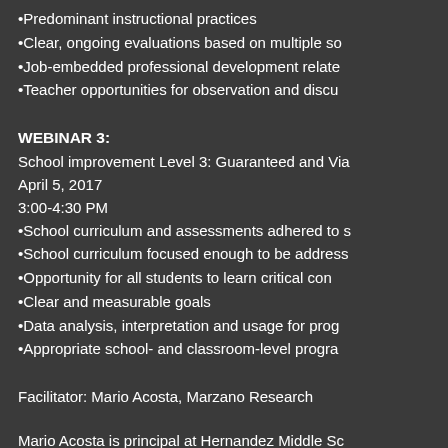•Predominant instructional practices
•Clear, ongoing evaluations based on multiple so
•Job-embedded professional development relate
•Teacher opportunities for observation and discu
WEBINAR 3:
School improvement Level 3: Guaranteed and Via
April 5, 2017
3:00-4:30 PM
•School curriculum and assessments adhered to s
•School curriculum focused enough to be address
•Opportunity for all students to learn critical con
•Clear and measurable goals
•Data analysis, interpretation and usage for prog
•Appropriate school- and classroom-level progra
Facilitator: Mario Acosta, Marzano Research
Mario Acosta is principal at Hernandez Middle Sc